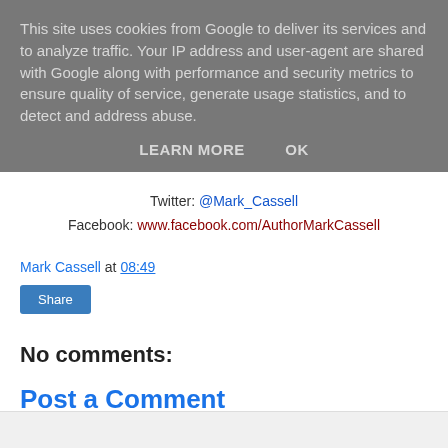This site uses cookies from Google to deliver its services and to analyze traffic. Your IP address and user-agent are shared with Google along with performance and security metrics to ensure quality of service, generate usage statistics, and to detect and address abuse.
LEARN MORE   OK
Twitter: @Mark_Cassell
Facebook: www.facebook.com/AuthorMarkCassell
Mark Cassell at 08:49
Share
No comments:
Post a Comment